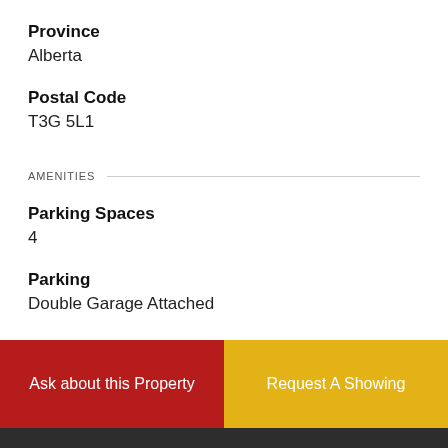Province
Alberta
Postal Code
T3G 5L1
AMENITIES
Parking Spaces
4
Parking
Double Garage Attached
Ask about this Property
Request A Showing